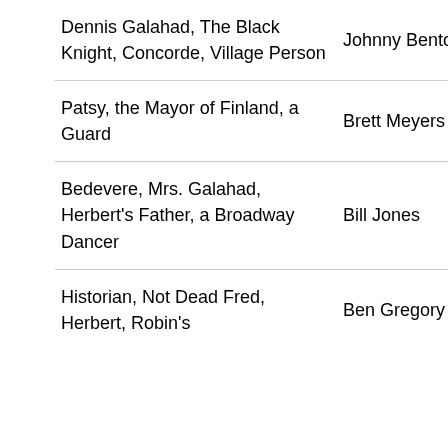| Role | Actor |
| --- | --- |
| Dennis Galahad, The Black Knight, Concorde, Village Person | Johnny Benton |
| Patsy, the Mayor of Finland, a Guard | Brett Meyers |
| Bedevere, Mrs. Galahad, Herbert's Father, a Broadway Dancer | Bill Jones |
| Historian, Not Dead Fred, Herbert, Robin's | Ben Gregory |